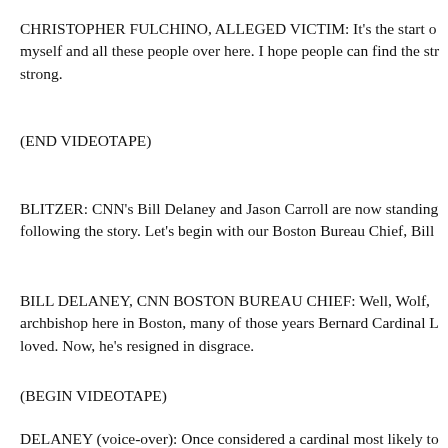CHRISTOPHER FULCHINO, ALLEGED VICTIM: It's the start of myself and all these people over here. I hope people can find the str strong.
(END VIDEOTAPE)
BLITZER: CNN's Bill Delaney and Jason Carroll are now standing following the story. Let's begin with our Boston Bureau Chief, Bill
BILL DELANEY, CNN BOSTON BUREAU CHIEF: Well, Wolf, archbishop here in Boston, many of those years Bernard Cardinal L loved. Now, he's resigned in disgrace.
(BEGIN VIDEOTAPE)
DELANEY (voice-over): Once considered a cardinal most likely to